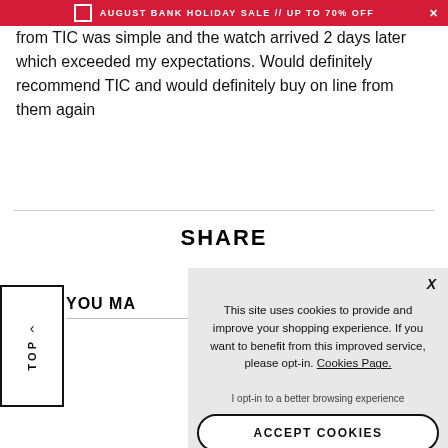AUGUST BANK HOLIDAY SALE // UP TO 70% OFF
from TIC was simple and the watch arrived 2 days later which exceeded my expectations. Would definitely recommend TIC and would definitely buy on line from them again
SHARE
YOU MA...
This site uses cookies to provide and improve your shopping experience. If you want to benefit from this improved service, please opt-in. Cookies Page.
I opt-in to a better browsing experience
ACCEPT COOKIES